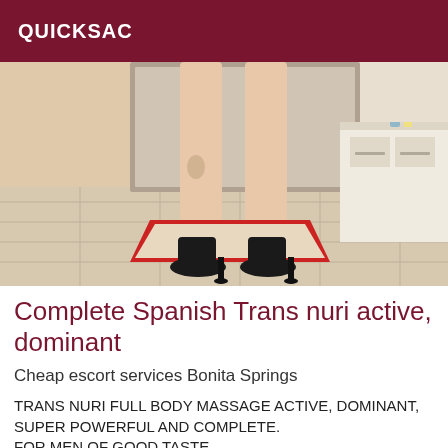QUICKSAC
[Figure (photo): Photo of a person's legs in black high heels standing on a tiled floor with a red rug, in front of a mirror, with a white dresser visible in the background.]
Complete Spanish Trans nuri active, dominant
Cheap escort services Bonita Springs
TRANS NURI FULL BODY MASSAGE ACTIVE, DOMINANT, SUPER POWERFUL AND COMPLETE. FOR MEN OF GOOD TASTE...